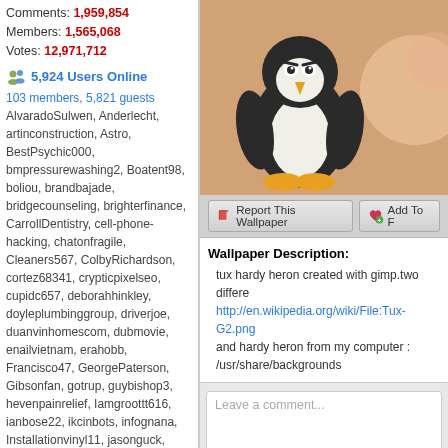Comments: 1,959,854
Members: 1,565,068
Votes: 12,971,712
5,924 Users Online
103 members, 5,821 guests
AlvaradoSulwen, Anderlecht, artinconstruction, Astro, BestPsychic000, bmpressurewashing2, Boatent98, boliou, brandbajade, bridgecounseling, brighterfinance, CarrollDentistry, cell-phone-hacking, chatonfragile, Cleaners567, ColbyRichardson, cortez68341, crypticpixelseo, cupidc657, deborahhinkley, doyleplumbinggroup, driverjoe, duanvinhomescom, dubmovie, enailvietnam, erahobb, Francisco47, GeorgePaterson, Gibsonfan, gotrup, guybishop3, hevenpainrelief, Iamgroottt616, ianbose22, ikcinbots, infognana, Installationvinyl11, jasonguck, JokersStash, josephfirarae, jun8888, KayaXu8, khungnhomkinhvietphon..., kinggohan, Lalina, Lamamake, leonbetappin, lertuiosq, lilla811, lirikmerch, maayash, macthanhvu, marquisbarkley, mayapatil281995, McKinneysTX, mikepaxson, missshweta, mistydaydream1, mod.CG, modzoro, mumtazdental, now888today, phasoir777
[Figure (illustration): Tux the Linux penguin on orange/brown background with other graphic element visible on right]
Report This Wallpaper   Add To F
Wallpaper Description:
tux hardy heron created with gimp.two differe http://en.wikipedia.org/wiki/File:Tux-G2.png and hardy heron from my computer : /usr/share/backgrounds
Leave a comment...
This wallpaper has no comm